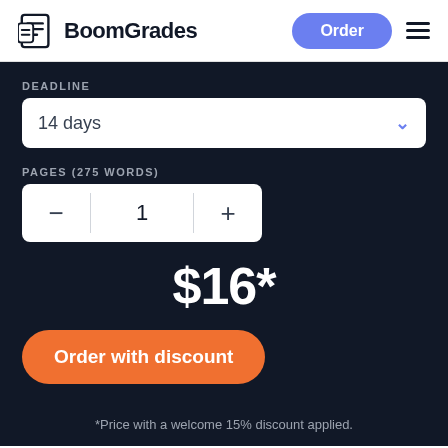[Figure (logo): BoomGrades logo with document icon and text]
Order
DEADLINE
14 days
PAGES (275 WORDS)
1
$16*
Order with discount
*Price with a welcome 15% discount applied.